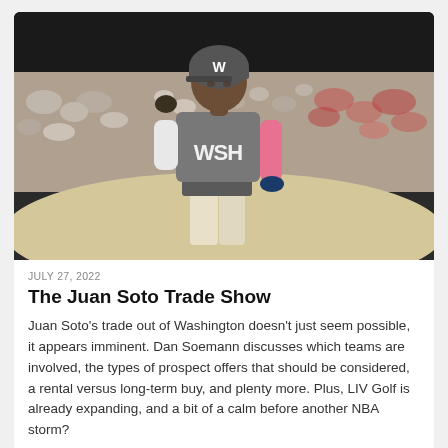[Figure (photo): Baseball player in WSH (Washington Nationals) gray jersey and pink arm sleeve, wearing a gray helmet, walking on field with packed stadium crowd behind him.]
JULY 27, 2022
The Juan Soto Trade Show
Juan Soto's trade out of Washington doesn't just seem possible, it appears imminent. Dan Soemann discusses which teams are involved, the types of prospect offers that should be considered, a rental versus long-term buy, and plenty more. Plus, LIV Golf is already expanding, and a bit of a calm before another NBA storm?